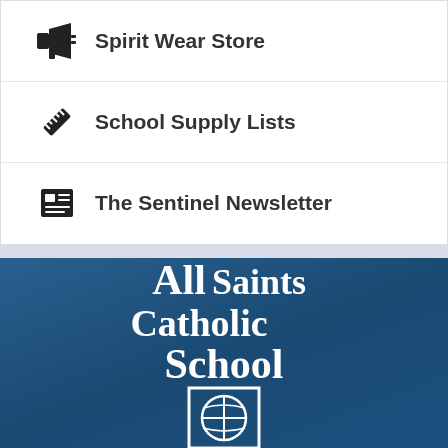Spirit Wear Store
School Supply Lists
The Sentinel Newsletter
[Figure (logo): All Saints Catholic School logo with stylized text and globe icon on dark blue background]